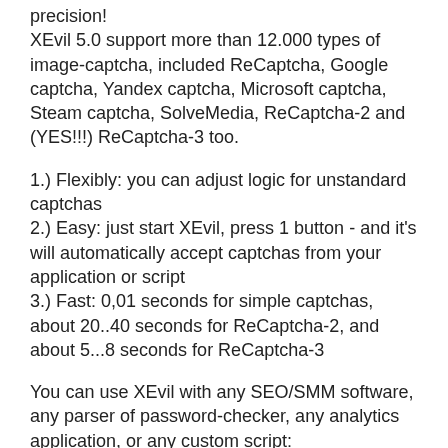precision!
XEvil 5.0 support more than 12.000 types of image-captcha, included ReCaptcha, Google captcha, Yandex captcha, Microsoft captcha, Steam captcha, SolveMedia, ReCaptcha-2 and (YES!!!) ReCaptcha-3 too.
1.) Flexibly: you can adjust logic for unstandard captchas
2.) Easy: just start XEvil, press 1 button - and it's will automatically accept captchas from your application or script
3.) Fast: 0,01 seconds for simple captchas, about 20..40 seconds for ReCaptcha-2, and about 5...8 seconds for ReCaptcha-3
You can use XEvil with any SEO/SMM software, any parser of password-checker, any analytics application, or any custom script:
XEvil support most of well-known anti-captcha services API: 2Captcha.com, RuCaptcha.Com, AntiGate.com (Anti-Captcha.com), DeathByCaptcha, etc.
Interested? Just search in YouTube "XEvil" for more info